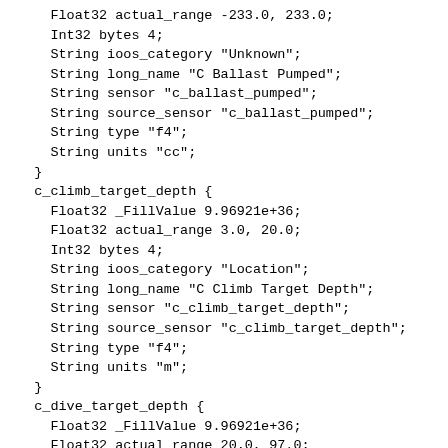Float32 actual_range -233.0, 233.0;
    Int32 bytes 4;
    String ioos_category "Unknown";
    String long_name "C Ballast Pumped";
    String sensor "c_ballast_pumped";
    String source_sensor "c_ballast_pumped";
    String type "f4";
    String units "cc";
  }
  c_climb_target_depth {
    Float32 _FillValue 9.96921e+36;
    Float32 actual_range 3.0, 20.0;
    Int32 bytes 4;
    String ioos_category "Location";
    String long_name "C Climb Target Depth";
    String sensor "c_climb_target_depth";
    String source_sensor "c_climb_target_depth";
    String type "f4";
    String units "m";
  }
  c_dive_target_depth {
    Float32 _FillValue 9.96921e+36;
    Float32 actual_range 20.0, 97.0;
    Int32 bytes 4;
    String ioos_category "Location";